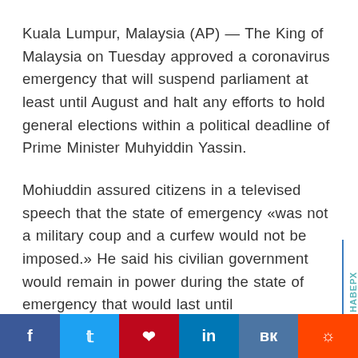Kuala Lumpur, Malaysia (AP) — The King of Malaysia on Tuesday approved a coronavirus emergency that will suspend parliament at least until August and halt any efforts to hold general elections within a political deadline of Prime Minister Muhyiddin Yassin.
Mohiuddin assured citizens in a televised speech that the state of emergency «was not a military coup and a curfew would not be imposed.» He said his civilian government would remain in power during the state of emergency that would last until